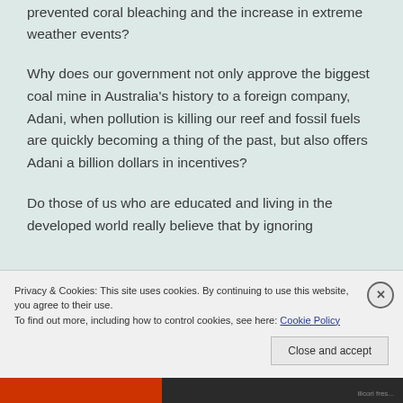prevented coral bleaching and the increase in extreme weather events?
Why does our government not only approve the biggest coal mine in Australia’s history to a foreign company, Adani, when pollution is killing our reef and fossil fuels are quickly becoming a thing of the past, but also offers Adani a billion dollars in incentives?
Do those of us who are educated and living in the developed world really believe that by ignoring
Privacy & Cookies: This site uses cookies. By continuing to use this website, you agree to their use.
To find out more, including how to control cookies, see here: Cookie Policy